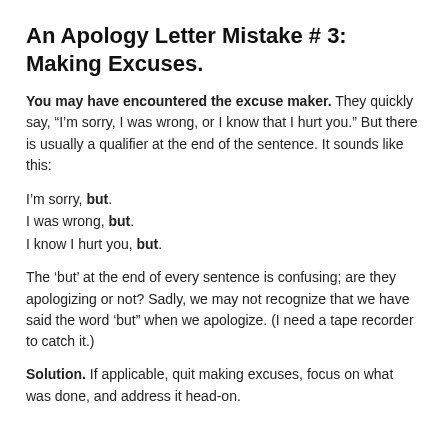An Apology Letter Mistake # 3: Making Excuses.
You may have encountered the excuse maker. They quickly say, “I’m sorry, I was wrong, or I know that I hurt you.” But there is usually a qualifier at the end of the sentence. It sounds like this:
I’m sorry, but.
I was wrong, but.
I know I hurt you, but.
The ‘but’ at the end of every sentence is confusing; are they apologizing or not? Sadly, we may not recognize that we have said the word ‘but” when we apologize. (I need a tape recorder to catch it.)
Solution. If applicable, quit making excuses, focus on what was done, and address it head-on.